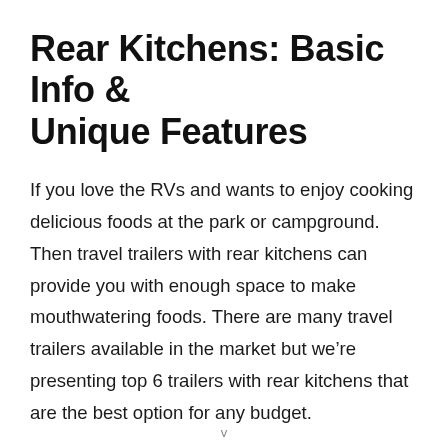Rear Kitchens: Basic Info & Unique Features
If you love the RVs and wants to enjoy cooking delicious foods at the park or campground. Then travel trailers with rear kitchens can provide you with enough space to make mouthwatering foods. There are many travel trailers available in the market but we’re presenting top 6 trailers with rear kitchens that are the best option for any budget.
Let’s check it out the top 6 travel trailers with rear